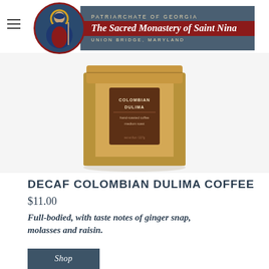PATRIARCHATE OF GEORGIA | The Sacred Monastery of Saint Nina | UNION BRIDGE, MARYLAND
[Figure (photo): A kraft paper bag of Colombian Dulima coffee with a brown label reading 'COLOMBIAN DULIMA hand-roasted coffee medium roast']
DECAF COLOMBIAN DULIMA COFFEE
$11.00
Full-bodied, with taste notes of ginger snap, molasses and raisin.
Shop